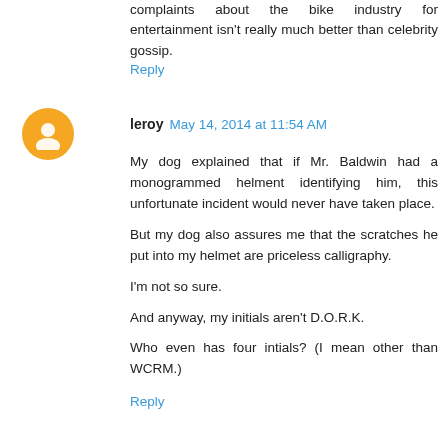complaints about the bike industry for entertainment isn't really much better than celebrity gossip.
Reply
leroy May 14, 2014 at 11:54 AM
My dog explained that if Mr. Baldwin had a monogrammed helment identifying him, this unfortunate incident would never have taken place.
But my dog also assures me that the scratches he put into my helmet are priceless calligraphy.
I'm not so sure.
And anyway, my initials aren't D.O.R.K.
Who even has four intials? (I mean other than WCRM.)
Reply